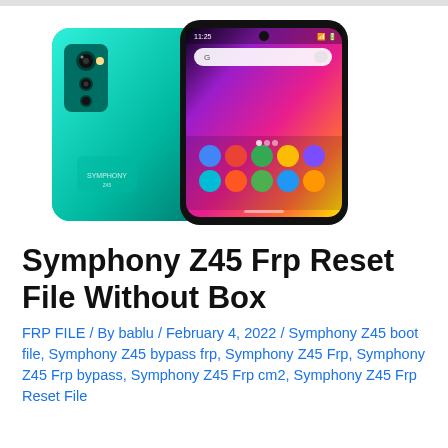[Figure (photo): Two Symphony Z45 smartphones shown — one displaying the teal/green back panel with camera array, the other showing the front screen with colorful Android home screen with app icons and wallpaper.]
Symphony Z45 Frp Reset File Without Box
FRP FILE / By bablu / February 4, 2022 / Symphony Z45 boot file, Symphony Z45 bypass frp, Symphony Z45 Frp, Symphony Z45 Frp bypass, Symphony Z45 Frp cm2, Symphony Z45 Frp Reset File